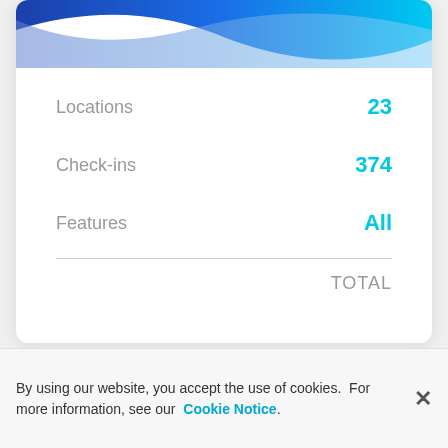[Figure (illustration): Blue wave/gradient graphic at top of a white card, with dark blue and light blue wave shapes against a white background.]
|  |  |
| --- | --- |
| Locations | 23 |
| Check-ins | 374 |
| Features | All |
| TOTAL |  |
By using our website, you accept the use of cookies. For more information, see our Cookie Notice.